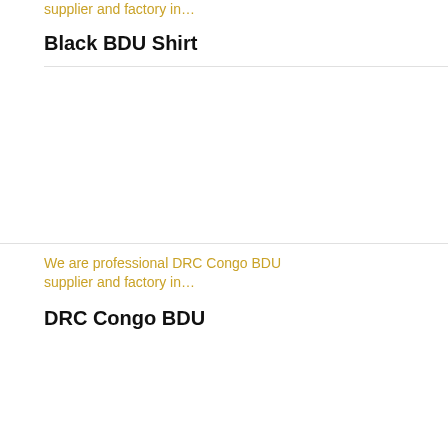supplier and factory in...
Black BDU Shirt
[Figure (photo): Product image area (white/blank) for Black BDU Shirt]
We are professional DRC Congo BDU supplier and factory in...
DRC Congo BDU